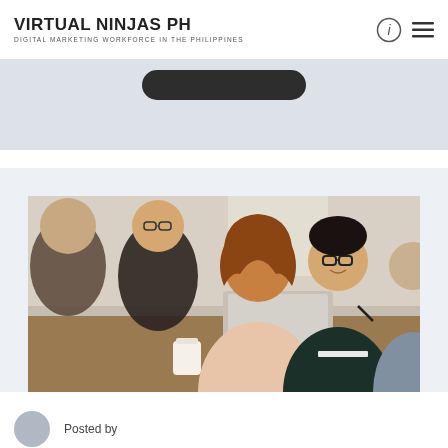VIRTUAL NINJAS PH
DIGITAL MARKETING WORKFORCE IN THE PHILIPPINES
[Figure (photo): Group of young professionals laughing and collaborating around a laptop at a cafe table, with coffee cups on the table. One man wearing glasses and a dark sweater is presenting or speaking while others listen and smile.]
Posted by